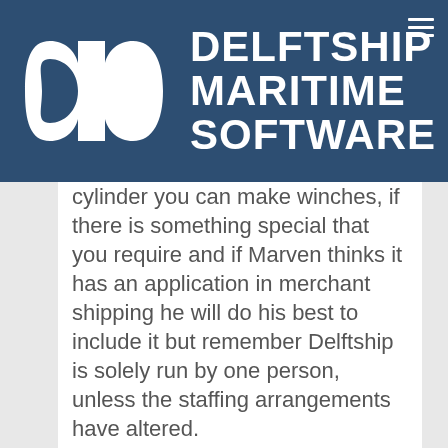[Figure (logo): Delftship Maritime Software logo: white stylized 'db' monogram on dark navy blue background, with company name DELFTSHIP MARITIME SOFTWARE in white bold uppercase text to the right]
cylinder you can make winches, if there is something special that you require and if Marven thinks it has an application in merchant shipping he will do his best to include it but remember Delftship is solely run by one person, unless the staffing arrangements have altered. If you want to move multiply points at once, highlight the points you want to move and add an @ at